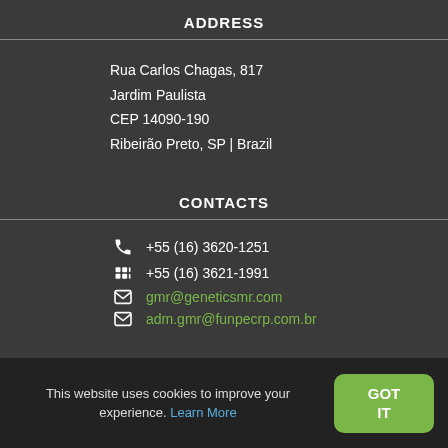ADDRESS
Rua Carlos Chagas, 817
Jardim Paulista
CEP 14090-190
Ribeirão Preto, SP | Brazil
CONTACTS
+55 (16) 3620-1251
+55 (16) 3621-1991
gmr@geneticsmr.com
adm.gmr@funpecrp.com.br
FOLLOW US
This website uses cookies to improve your experience. Learn More
GOT IT